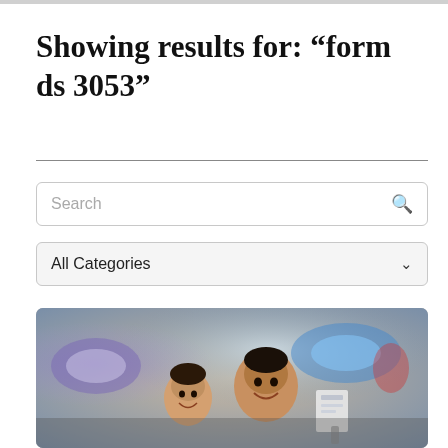Showing results for: “form ds 3053”
[Figure (photo): A smiling man and young girl at what appears to be an airport, holding travel documents, with blurred background of airport signage.]